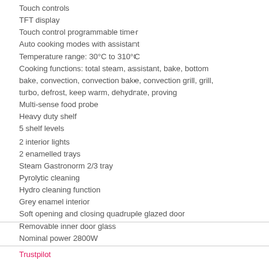Touch controls
TFT display
Touch control programmable timer
Auto cooking modes with assistant
Temperature range: 30°C to 310°C
Cooking functions: total steam, assistant, bake, bottom bake, convection, convection bake, convection grill, grill, turbo, defrost, keep warm, dehydrate, proving
Multi-sense food probe
Heavy duty shelf
5 shelf levels
2 interior lights
2 enamelled trays
Steam Gastronorm 2/3 tray
Pyrolytic cleaning
Hydro cleaning function
Grey enamel interior
Soft opening and closing quadruple glazed door
Removable inner door glass
Nominal power 2800W
Trustpilot